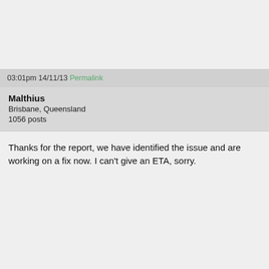03:01pm 14/11/13 Permalink
Malthius
Brisbane, Queensland
1056 posts
Thanks for the report, we have identified the issue and are working on a fix now. I can't give an ETA, sorry.
03:41pm 14/11/13 Permalink
system
Internet